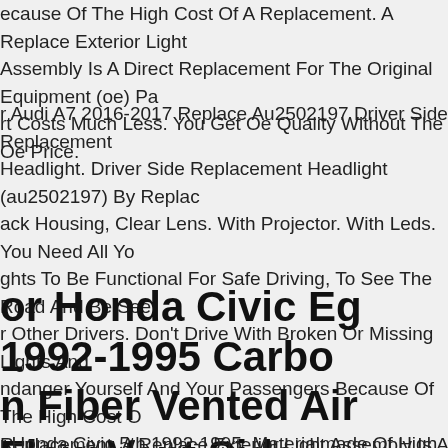ecause Of The High Cost Of A Replacement. A Replace Exterior Light Assembly Is A Direct Replacement For The Original Equipment (oe) Part But Costs Much Less. You Get Oe Quality Without The Oe Price.
r Audi A7 2016-2017 Replace Au2502197 Driver Side Replacement Headlight. Driver Side Replacement Headlight (au2502197) By Replace. Black Housing, Clear Lens. With Projector. With Leds. You Need All Your Lights To Be Functional For Safe Driving, To See The Road And Be Seen By Other Drivers. Don't Drive With Broken Or Missing Lights And Endanger Yourself And Your Passengers Because Of The High Cost Of A Replacement. A Replace Exterior Light Assembly Is A Direct Replacement For The Original Equipment (oe) Part But Costs Much Less. You Get Oe Quality Without The Oe Price.
or Honda Civic Eg 1992-1995 Carbon Fiber Vented Air Flow Vent Side Sticker Trim
r Honda Civic 5th 1992-1995. Materialmade Of High Quality Carbon